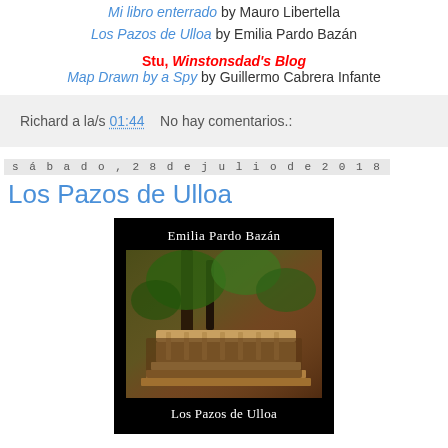Mi libro enterrado by Mauro Libertella
Los Pazos de Ulloa by Emilia Pardo Bazán
Stu, Winstonsdad's Blog
Map Drawn by a Spy by Guillermo Cabrera Infante
Richard a la/s 01:44    No hay comentarios.:
sábado, 28 de julio de 2018
Los Pazos de Ulloa
[Figure (photo): Book cover of Los Pazos de Ulloa by Emilia Pardo Bazán. Black background with author name at top, a photograph of an outdoor stone staircase with greenery, and the book title at the bottom in white text.]